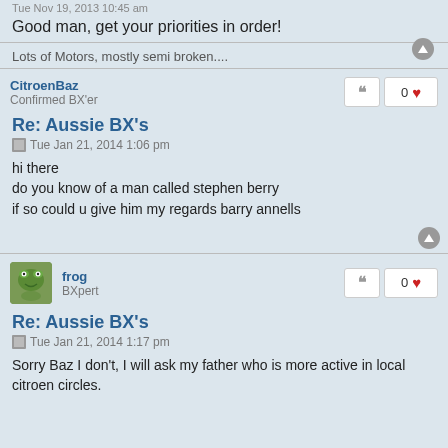Tue Nov 19, 2013 10:45 am
Good man, get your priorities in order!
Lots of Motors, mostly semi broken....
CitroenBaz
Confirmed BX'er
Re: Aussie BX's
Tue Jan 21, 2014 1:06 pm
hi there
do you know of a man called stephen berry
if so could u give him my regards barry annells
frog
BXpert
Re: Aussie BX's
Tue Jan 21, 2014 1:17 pm
Sorry Baz I don't, I will ask my father who is more active in local citroen circles.